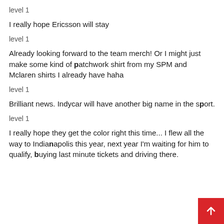level 1
I really hope Ericsson will stay
level 1
Already looking forward to the team merch! Or I might just make some kind of patchwork shirt from my SPM and Mclaren shirts I already have haha
level 1
Brilliant news. Indycar will have another big name in the sport.
level 1
I really hope they get the color right this time... I flew all the way to Indianapolis this year, next year I'm waiting for him to qualify, buying last minute tickets and driving there.